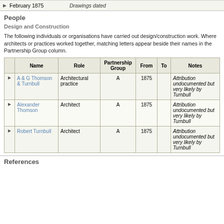February 1875 — Drawings dated
People
Design and Construction
The following individuals or organisations have carried out design/construction work. Where architects or practices worked together, matching letters appear beside their names in the Partnership Group column.
|  | Name | Role | Partnership Group | From | To | Notes |
| --- | --- | --- | --- | --- | --- | --- |
| ▶ | A & G Thomson & Turnbull | Architectural practice | A | 1875 |  | Attribution undocumented but very likely by Turnbull |
| ▶ | Alexander Thomson | Architect | A | 1875 |  | Attribution undocumented but very likely by Turnbull |
| ▶ | Robert Turnbull | Architect | A | 1875 |  | Attribution undocumented but very likely by Turnbull |
References